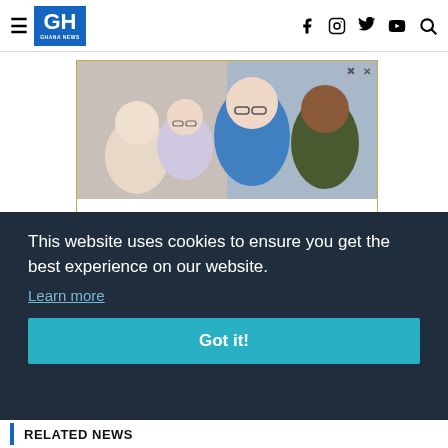GH Ghana News
[Figure (photo): Advertisement for Gracious Retirement Living showing elderly people smiling together with a heart logo. Ad has close and info icons.]
This website uses cookies to ensure you get the best experience on our website.
Learn more
Got it!
RELATED NEWS